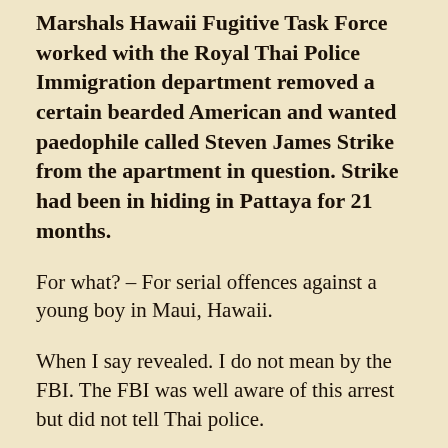Marshals Hawaii Fugitive Task Force worked with the Royal Thai Police Immigration department removed a certain bearded American and wanted paedophile called Steven James Strike from the apartment in question. Strike had been in hiding in Pattaya for 21 months.
For what?  – For serial offences against a young boy in Maui, Hawaii.
When I say revealed. I do not mean by the FBI. The FBI was well aware of this arrest but did not tell Thai police.
The Embassy officials first visited the boys to talk to them and then they attended his arrest in